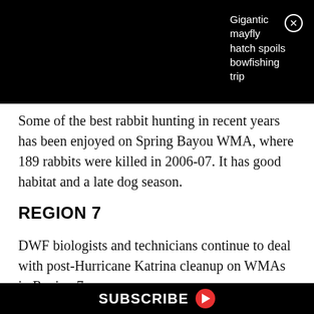[Figure (screenshot): Black banner overlay with ad text reading 'Gigantic mayfly hatch spoils bowfishing trip' and a close button (X circle) in the top right corner]
Some of the best rabbit hunting in recent years has been enjoyed on Spring Bayou WMA, where 189 rabbits were killed in 2006-07. It has good habitat and a late dog season.
REGION 7
DWF biologists and technicians continue to deal with post-Hurricane Katrina cleanup on WMAs in Region 7.
They have removed debris, cut trees, reestablished trails and maintained trails and roads affected by the hurricane
SUBSCRIBE